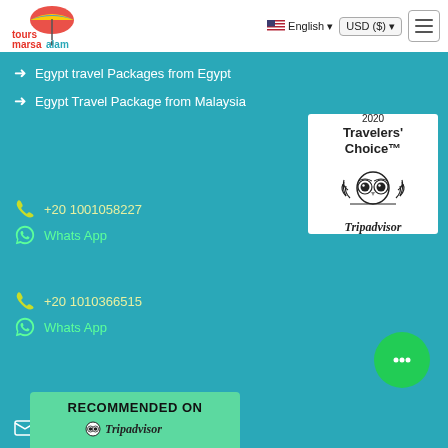tours marsaalam | English | USD ($) | menu
→ Egypt travel Packages from Egypt
→ Egypt Travel Package from Malaysia
[Figure (logo): 2020 Travelers' Choice Tripadvisor award badge with owl logo]
+20 1001058227
Whats App
+20 1010366515
Whats App
info@marsaalamtours.com
RECOMMENDED ON Tripadvisor